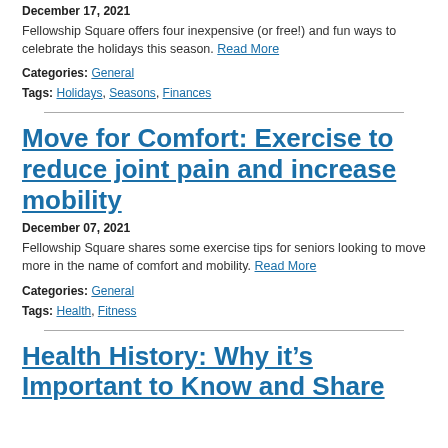December 17, 2021
Fellowship Square offers four inexpensive (or free!) and fun ways to celebrate the holidays this season. Read More
Categories: General
Tags: Holidays, Seasons, Finances
Move for Comfort: Exercise to reduce joint pain and increase mobility
December 07, 2021
Fellowship Square shares some exercise tips for seniors looking to move more in the name of comfort and mobility. Read More
Categories: General
Tags: Health, Fitness
Health History: Why it’s Important to Know and Share